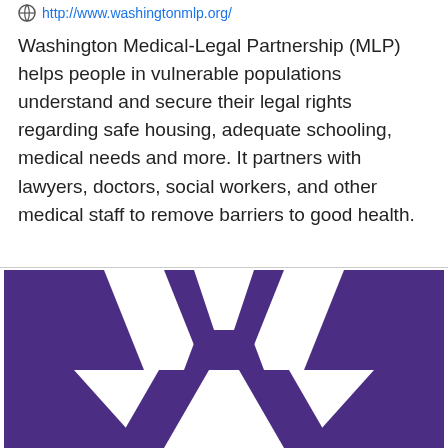contact@washingtonmlp.org
http://www.washingtonmlp.org/
Washington Medical-Legal Partnership (MLP) helps people in vulnerable populations understand and secure their legal rights regarding safe housing, adequate schooling, medical needs and more. It partners with lawyers, doctors, social workers, and other medical staff to remove barriers to good health.
[Figure (logo): University of Washington block W logo in purple on white background, cropped to show upper portion of the W letterform]